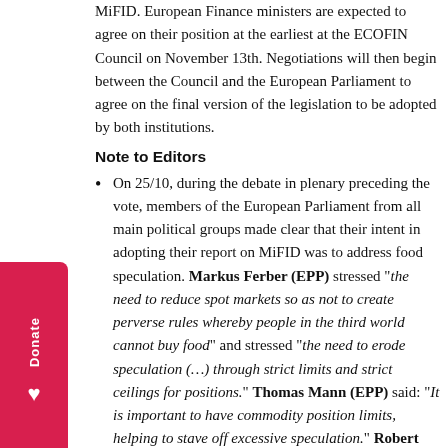MiFID. European Finance ministers are expected to agree on their position at the earliest at the ECOFIN Council on November 13th. Negotiations will then begin between the Council and the European Parliament to agree on the final version of the legislation to be adopted by both institutions.
Note to Editors
On 25/10, during the debate in plenary preceding the vote, members of the European Parliament from all main political groups made clear that their intent in adopting their report on MiFID was to address food speculation. Markus Ferber (EPP) stressed "the need to reduce spot markets so as not to create perverse rules whereby people in the third world cannot buy food" and stressed "the need to erode speculation (…) through strict limits and strict ceilings for positions." Thomas Mann (EPP) said: "It is important to have commodity position limits, helping to stave off excessive speculation." Robert GOEBBELS (S&D) said "We need to build proper barriers against commodity and food speculation". Arlene McCarthy (S&D) used the words "immoral and unjust" to qualify excessive food speculation. Sharon Bowles